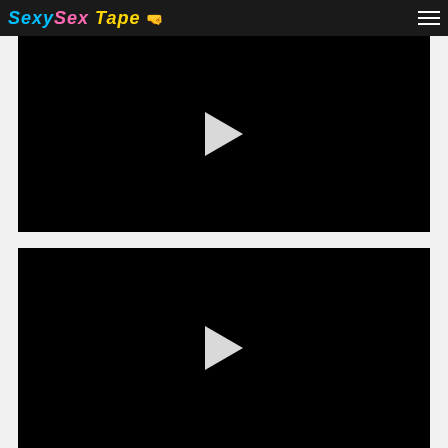SexySex Tape 🤜
[Figure (screenshot): Black video player thumbnail with white play button triangle in center]
[Figure (screenshot): Black video player thumbnail with white play button triangle in center]